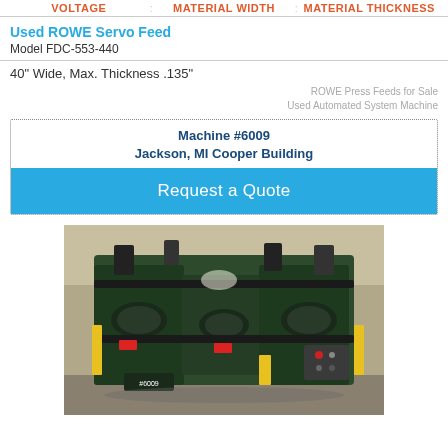Voltage | Material Width | Material Thickness
Used ROWE Servo Feed
Model FDC-553-440
40" Wide, Max. Thickness .135"
ROWE Press Feeds for Sale
Used Automated System Machine
Machine #6009
Jackson, MI Cooper Building
Request a Quote
[Figure (photo): Photo of a used ROWE Servo Feed machine (Model FDC-553-440), a large industrial press feed system painted dark green and black with yellow safety accents, shown in a factory/warehouse setting.]